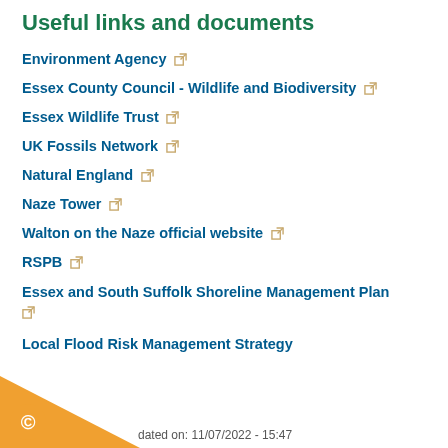Useful links and documents
Environment Agency
Essex County Council - Wildlife and Biodiversity
Essex Wildlife Trust
UK Fossils Network
Natural England
Naze Tower
Walton on the Naze official website
RSPB
Essex and South Suffolk Shoreline Management Plan
Local Flood Risk Management Strategy
dated on: 11/07/2022 - 15:47